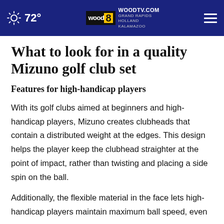72° WOODTV.COM GRAND RAPIDS HOLLAND KALAMAZOO
What to look for in a quality Mizuno golf club set
Features for high-handicap players
With its golf clubs aimed at beginners and high-handicap players, Mizuno creates clubheads that contain a distributed weight at the edges. This design helps the player keep the clubhead straighter at the point of impact, rather than twisting and placing a side spin on the ball.
Additionally, the flexible material in the face lets high-handicap players maintain maximum ball speed, even